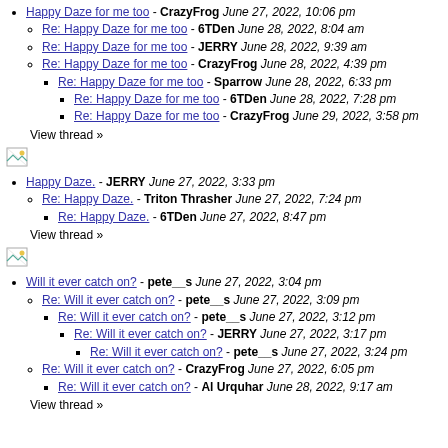Happy Daze for me too - CrazyFrog June 27, 2022, 10:06 pm
Re: Happy Daze for me too - 6TDen June 28, 2022, 8:04 am
Re: Happy Daze for me too - JERRY June 28, 2022, 9:39 am
Re: Happy Daze for me too - CrazyFrog June 28, 2022, 4:39 pm
Re: Happy Daze for me too - Sparrow June 28, 2022, 6:33 pm
Re: Happy Daze for me too - 6TDen June 28, 2022, 7:28 pm
Re: Happy Daze for me too - CrazyFrog June 29, 2022, 3:58 pm
View thread »
[Figure (illustration): Small broken image placeholder icon]
Happy Daze. - JERRY June 27, 2022, 3:33 pm
Re: Happy Daze. - Triton Thrasher June 27, 2022, 7:24 pm
Re: Happy Daze. - 6TDen June 27, 2022, 8:47 pm
View thread »
[Figure (illustration): Small broken image placeholder icon]
Will it ever catch on? - pete__s June 27, 2022, 3:04 pm
Re: Will it ever catch on? - pete__s June 27, 2022, 3:09 pm
Re: Will it ever catch on? - pete__s June 27, 2022, 3:12 pm
Re: Will it ever catch on? - JERRY June 27, 2022, 3:17 pm
Re: Will it ever catch on? - pete__s June 27, 2022, 3:24 pm
Re: Will it ever catch on? - CrazyFrog June 27, 2022, 6:05 pm
Re: Will it ever catch on? - Al Urquhar June 28, 2022, 9:17 am
View thread »